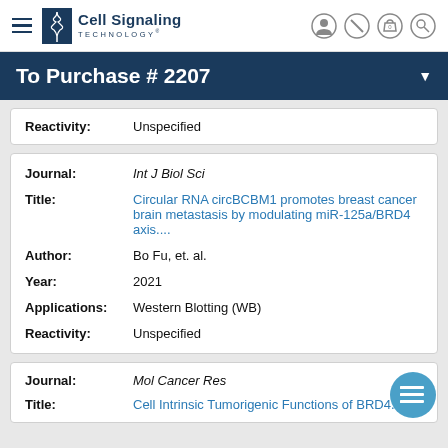Cell Signaling Technology
To Purchase # 2207
| Field | Value |
| --- | --- |
| Reactivity: | Unspecified |
| Field | Value |
| --- | --- |
| Journal: | Int J Biol Sci |
| Title: | Circular RNA circBCBM1 promotes breast cancer brain metastasis by modulating miR-125a/BRD4 axis.... |
| Author: | Bo Fu, et. al. |
| Year: | 2021 |
| Applications: | Western Blotting (WB) |
| Reactivity: | Unspecified |
| Field | Value |
| --- | --- |
| Journal: | Mol Cancer Res |
| Title: | Cell Intrinsic Tumorigenic Functions of BRD4... |